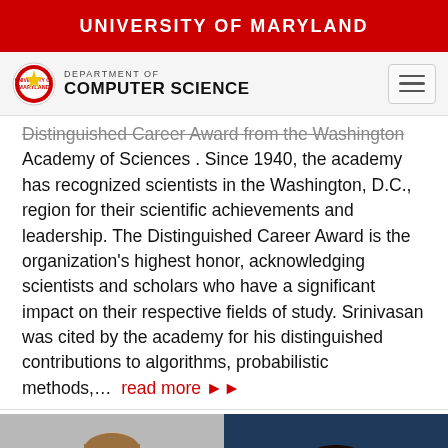UNIVERSITY OF MARYLAND
[Figure (logo): University of Maryland Department of Computer Science logo with UMD seal]
Distinguished Career Award from the Washington Academy of Sciences. Since 1940, the academy has recognized scientists in the Washington, D.C., region for their scientific achievements and leadership. The Distinguished Career Award is the organization's highest honor, acknowledging scientists and scholars who have a significant impact on their respective fields of study. Srinivasan was cited by the academy for his distinguished contributions to algorithms, probabilistic methods,... read more
[Figure (photo): Two headshot photos side by side: a young white male on a gray background on the left, and a young Black male smiling on a blue background on the right]